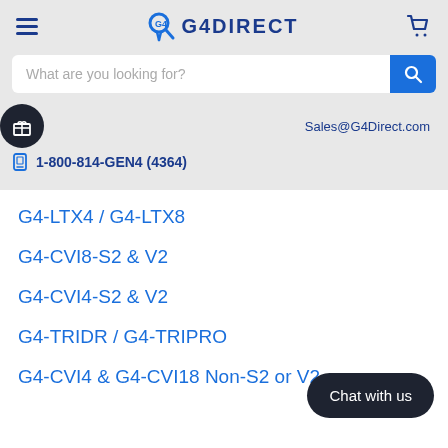G4DIRECT
What are you looking for?
Sales@G4Direct.com
1-800-814-GEN4 (4364)
G4-LTX4 / G4-LTX8
G4-CVI8-S2 & V2
G4-CVI4-S2 & V2
G4-TRIDR / G4-TRIPRO
G4-CVI4 & G4-CVI18 Non-S2 or V2
Chat with us